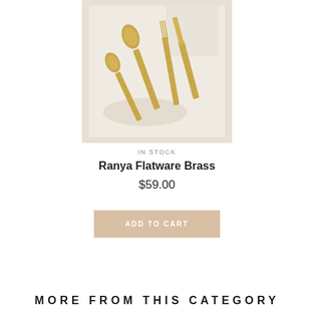[Figure (photo): Overhead photo of four pieces of gold/brass flatware (two spoons, one fork, one knife) arranged on a light cream/beige textured fabric or napkin background.]
IN STOCK
Ranya Flatware Brass
$59.00
ADD TO CART
MORE FROM THIS CATEGORY